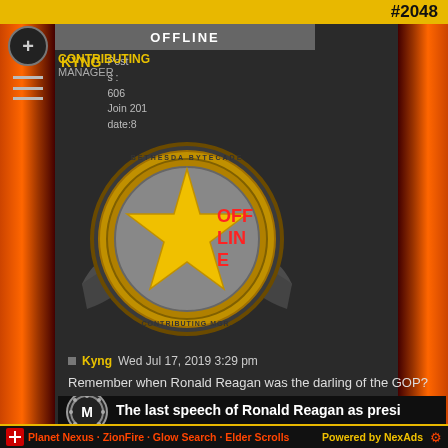#2048
OFFLINE
KYNG  Posts: 606  Join date: 2018-05-20
CONTRIBUTING MANAGER
[Figure (logo): Bethesda Bytecade Contributing Manager badge with gold star and wings logo, with OFFLINE overlay text in red]
Kyng  Wed Jul 17, 2019 3:29 pm
Remember when Ronald Reagan was the darling of the GOP?
[Figure (screenshot): Video embed thumbnail showing The last speech of Ronald Reagan as presi... with circular M logo]
Planet Nexus · ZionFire · Glow Search · Elder Scrolls    Powered by NexAds